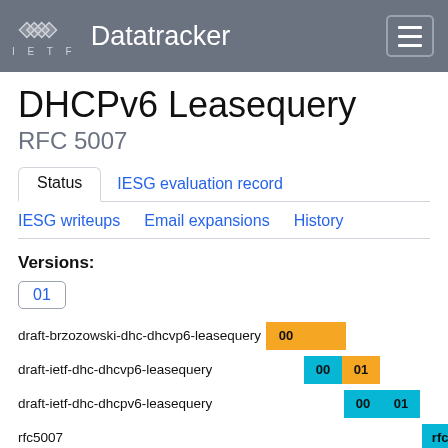IETF Datatracker
DHCPv6 Leasequery
RFC 5007
Status | IESG evaluation record | IESG writeups | Email expansions | History
Versions:
01
[Figure (other): Timeline chart showing draft versions: draft-brzozowski-dhc-dhcvp6-leasequery (00), draft-ietf-dhc-dhcvp6-leasequery (00, 01), draft-ietf-dhc-dhcpv6-leasequery (00, 01), rfc5007 with colored blocks on timeline axis with date labels 2006-2007]
draft-brzozowski-dhc-dhcvp6-leasequery
draft-ietf-dhc-dhcvp6-leasequery
draft-ietf-dhc-dhcpv6-leasequery
rfc5007